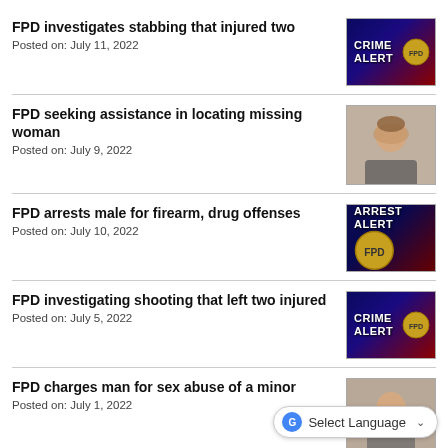FPD investigates stabbing that injured two
Posted on: July 11, 2022
FPD seeking assistance in locating missing woman
Posted on: July 9, 2022
FPD arrests male for firearm, drug offenses
Posted on: July 10, 2022
FPD investigating shooting that left two injured
Posted on: July 5, 2022
FPD charges man for sex abuse of a minor
Posted on: July 1, 2022
Select Language